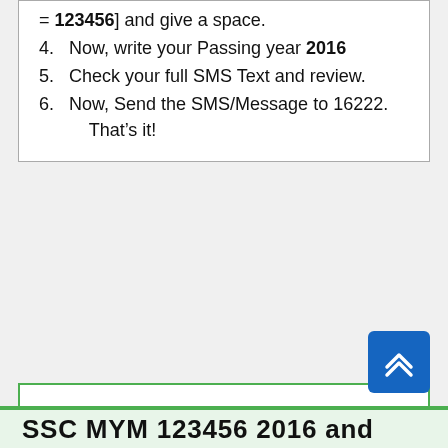= 123456] and give a space.
4. Now, write your Passing year 2016
5. Check your full SMS Text and review.
6. Now, Send the SMS/Message to 16222. That’s it!
As an example, we can explain that, Imagine you are SSC examinee of 2016 under the Mymensingh Education Board. Your SSC Roll number is 123456. Now if you want to get your SSC Exam Result 2016, just follow the Step in below:
SSC MYM 123456 2016 and